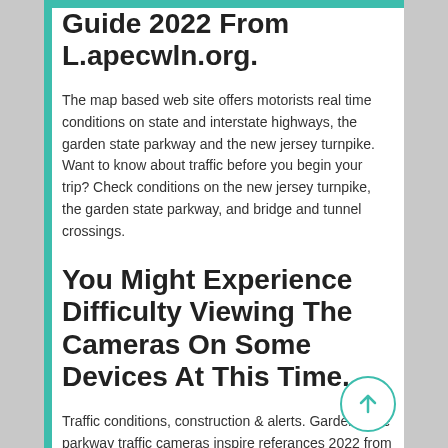Guide 2022 From L.apecwln.org.
The map based web site offers motorists real time conditions on state and interstate highways, the garden state parkway and the new jersey turnpike. Want to know about traffic before you begin your trip? Check conditions on the new jersey turnpike, the garden state parkway, and bridge and tunnel crossings.
You Might Experience Difficulty Viewing The Cameras On Some Devices At This Time.
Traffic conditions, construction & alerts. Garden state parkway traffic cameras inspire referances 2022 from fblase.org. This website uses cookies